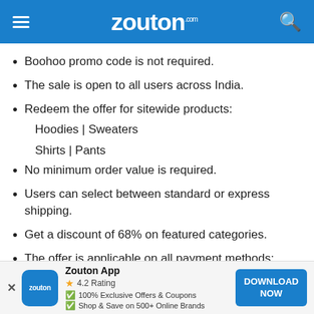zouton.com
Boohoo promo code is not required.
The sale is open to all users across India.
Redeem the offer for sitewide products:
Hoodies | Sweaters
Shirts | Pants
No minimum order value is required.
Users can select between standard or express shipping.
Get a discount of 68% on featured categories.
The offer is applicable on all payment methods:
Netbanking | Credit card | Debit Card | COD